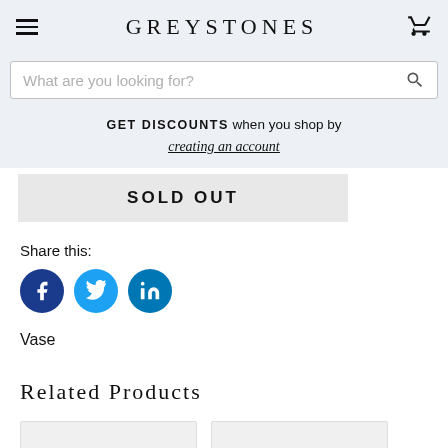GREYSTONES
[Figure (screenshot): Search bar with placeholder text 'What are you looking for?' and a search icon on the right]
GET DISCOUNTS when you shop by creating an account
SOLD OUT
Share this:
[Figure (illustration): Social media icons: Facebook (dark blue circle with f), Twitter (light blue circle with bird), LinkedIn (blue circle with in)]
Vase
Related Products
[Figure (other): Two product thumbnail placeholders at the bottom of the page]